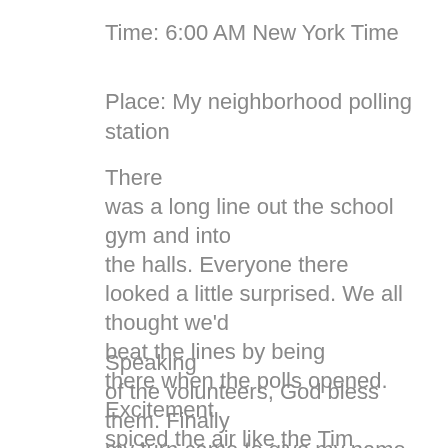Time: 6:00 AM New York Time
Place: My neighborhood polling station
There was a long line out the school gym and into the halls. Everyone there looked a little surprised. We all thought we'd beat the lines by being there when the polls opened. Excitement spiced the air like the Tim Horton's donuts on the volunteers' coffee table.
Speaking of the volunteers, God bless them. Finally my turn came to give my name to sign off the registration book before going